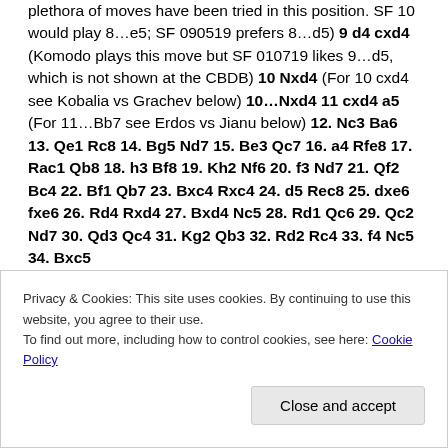plethora of moves have been tried in this position. SF 10 would play 8…e5; SF 090519 prefers 8…d5) 9 d4 cxd4 (Komodo plays this move but SF 010719 likes 9…d5, which is not shown at the CBDB) 10 Nxd4 (For 10 cxd4 see Kobalia vs Grachev below) 10…Nxd4 11 cxd4 a5 (For 11…Bb7 see Erdos vs Jianu below) 12. Nc3 Ba6 13. Qe1 Rc8 14. Bg5 Nd7 15. Be3 Qc7 16. a4 Rfe8 17. Rac1 Qb8 18. h3 Bf8 19. Kh2 Nf6 20. f3 Nd7 21. Qf2 Bc4 22. Bf1 Qb7 23. Bxc4 Rxc4 24. d5 Rec8 25. dxe6 fxe6 26. Rd4 Rxd4 27. Bxd4 Nc5 28. Rd1 Qc6 29. Qc2 Nd7 30. Qd3 Qc4 31. Kg2 Qb3 32. Rd2 Rc4 33. f4 Nc5 34. Bxc5
Privacy & Cookies: This site uses cookies. By continuing to use this website, you agree to their use.
To find out more, including how to control cookies, see here: Cookie Policy